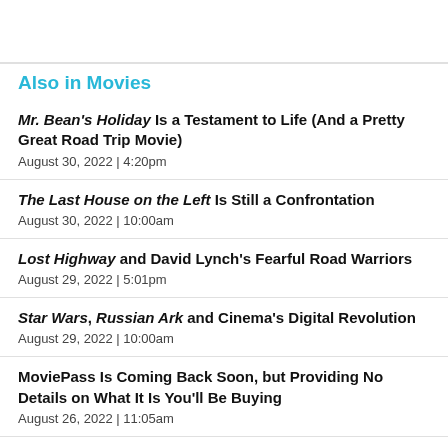Also in Movies
Mr. Bean's Holiday Is a Testament to Life (And a Pretty Great Road Trip Movie)
August 30, 2022  |  4:20pm
The Last House on the Left Is Still a Confrontation
August 30, 2022  |  10:00am
Lost Highway and David Lynch's Fearful Road Warriors
August 29, 2022  |  5:01pm
Star Wars, Russian Ark and Cinema's Digital Revolution
August 29, 2022  |  10:00am
MoviePass Is Coming Back Soon, but Providing No Details on What It Is You'll Be Buying
August 26, 2022  |  11:05am